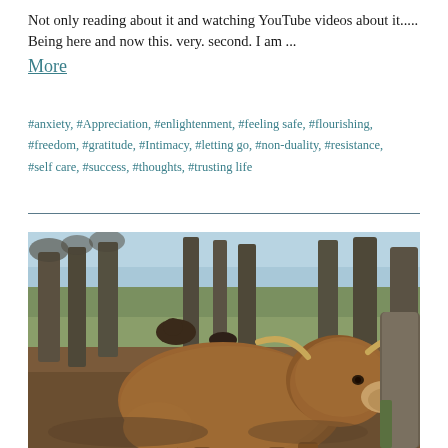Not only reading about it and watching YouTube videos about it..... Being here and now this. very. second. I am ... More
#anxiety, #Appreciation, #enlightenment, #feeling safe, #flourishing, #freedom, #gratitude, #Intimacy, #letting go, #non-duality, #resistance, #self care, #success, #thoughts, #trusting life
[Figure (photo): A shaggy brown Highland cow standing in the foreground of a woodland scene with tall bare trees. Two other cattle are visible in the background on a grassy hillside.]